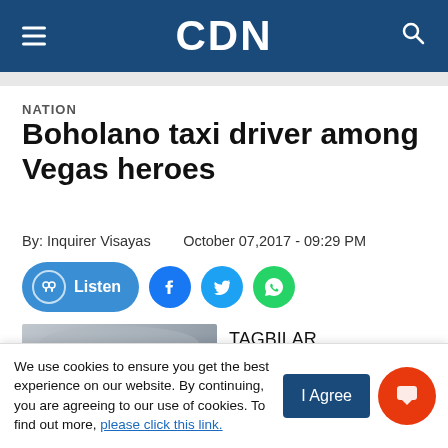CDN
NATION
Boholano taxi driver among Vegas heroes
By: Inquirer Visayas   October 07,2017 - 09:29 PM
[Figure (screenshot): Social sharing buttons: Listen, Facebook, Twitter, WhatsApp]
[Figure (photo): Interior of a vehicle, car ceiling and headrest visible]
TAGBILARAN CITY, Bohol —
We use cookies to ensure you get the best experience on our website. By continuing, you are agreeing to our use of cookies. To find out more, please click this link.